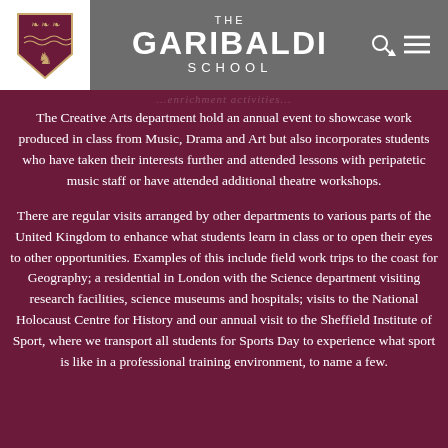[Figure (logo): The Garibaldi School logo with shield emblem and school name in header]
The Creative Arts department hold an annual event to showcase work produced in class from Music, Drama and Art but also incorporates students who have taken their interests further and attended lessons with peripatetic music staff or have attended additional theatre workshops.
There are regular visits arranged by other departments to various parts of the United Kingdom to enhance what students learn in class or to open their eyes to other opportunities. Examples of this include field work trips to the coast for Geography; a residential in London with the Science department visiting research facilities, science museums and hospitals; visits to the National Holocaust Centre for History and our annual visit to the Sheffield Institute of Sport, where we transport all students for Sports Day to experience what sport is like in a professional training environment, to name a few.